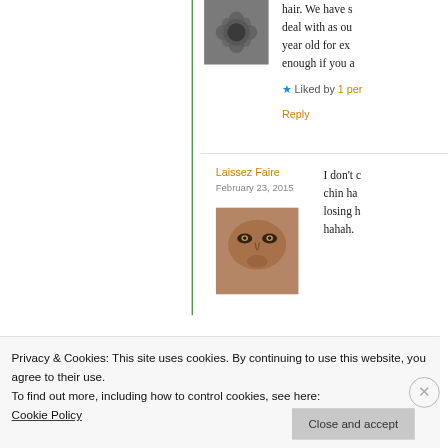[Figure (photo): Small avatar photo of a flower decoration, partially visible at top]
hair. We have s deal with as ou year old for ex enough if you a
★ Liked by 1 per
Reply
Laissez Faire
February 23, 2015
[Figure (photo): Avatar photo showing a close-up of a person's eyes and nose]
I don't c chin ha losing h hahah.
Privacy & Cookies: This site uses cookies. By continuing to use this website, you agree to their use.
To find out more, including how to control cookies, see here:
Cookie Policy
Close and accept